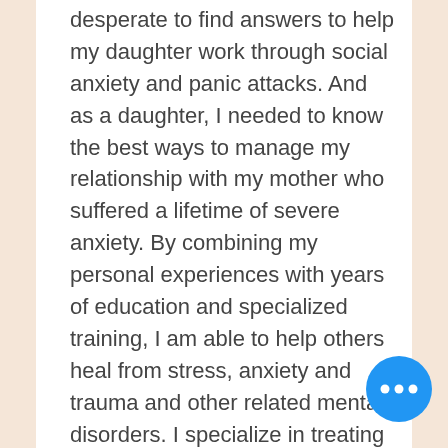desperate to find answers to help my daughter work through social anxiety and panic attacks. And as a daughter, I needed to know the best ways to manage my relationship with my mother who suffered a lifetime of severe anxiety. By combining my personal experiences with years of education and specialized training, I am able to help others heal from stress, anxiety and trauma and other related mental disorders. I specialize in treating people with Generalized Anxiety Disorder (GAD), Social Anxiety Disorder (SAD), Panic Disorder, Post traumatic Stress Disorder (PTSD), Obsessessive Compulsive Disorder (OCD), Attention Deficit Disorder and stress overload.
[Figure (other): Blue circular FAB button with three white dots (more options menu)]